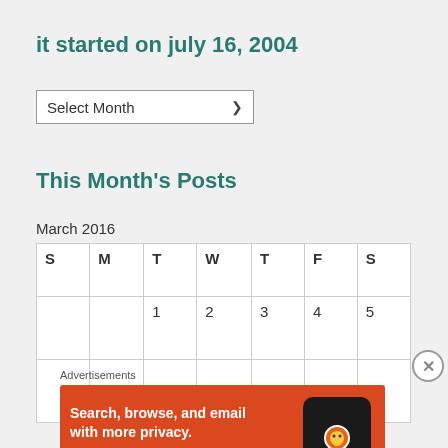it started on july 16, 2004
Select Month
This Month's Posts
March 2016
| S | M | T | W | T | F | S |
| --- | --- | --- | --- | --- | --- | --- |
|  |  | 1 | 2 | 3 | 4 | 5 |
|  |  |  |  |  |  |  |
Advertisements
[Figure (other): DuckDuckGo advertisement banner with orange background showing 'Search, browse, and email with more privacy. All in One Free App' with phone graphic and DuckDuckGo logo]